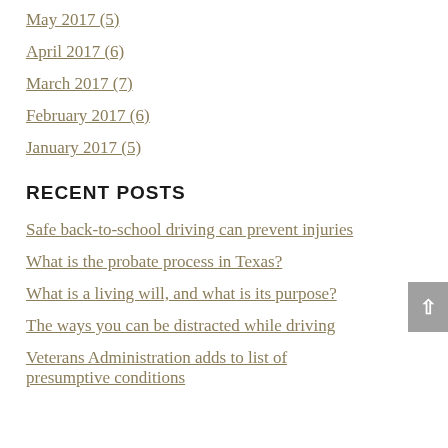May 2017 (5)
April 2017 (6)
March 2017 (7)
February 2017 (6)
January 2017 (5)
RECENT POSTS
Safe back-to-school driving can prevent injuries
What is the probate process in Texas?
What is a living will, and what is its purpose?
The ways you can be distracted while driving
Veterans Administration adds to list of presumptive conditions